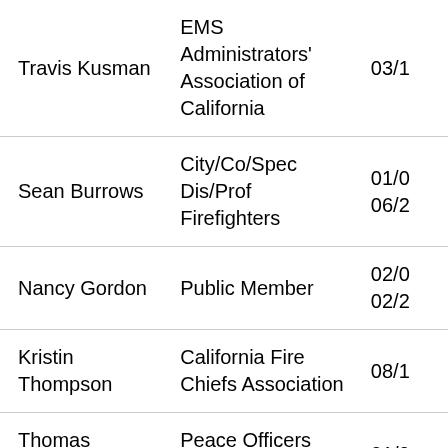| Name | Organization | Date |
| --- | --- | --- |
| Travis Kusman | EMS Administrators' Association of California | 03/1 |
| Sean Burrows | City/Co/Spec Dis/Prof Firefighters | 01/0 06/2 |
| Nancy Gordon | Public Member | 02/0 02/2 |
| Kristin Thompson | California Fire Chiefs Association | 08/1 |
| Thomas Giandomenico | Peace Officers Association | 01/0 |